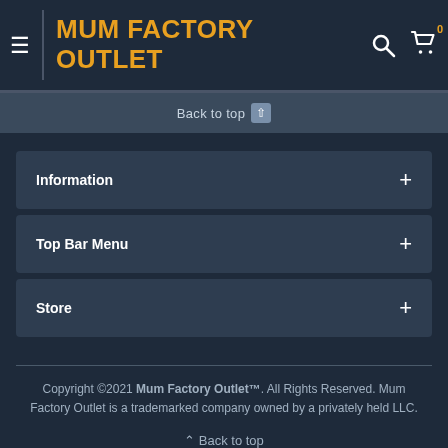MUM FACTORY OUTLET
Back to top ↑
Information +
Top Bar Menu +
Store +
Copyright ©2021 Mum Factory Outlet™. All Rights Reserved. Mum Factory Outlet is a trademarked company owned by a privately held LLC.
↑ Back to top